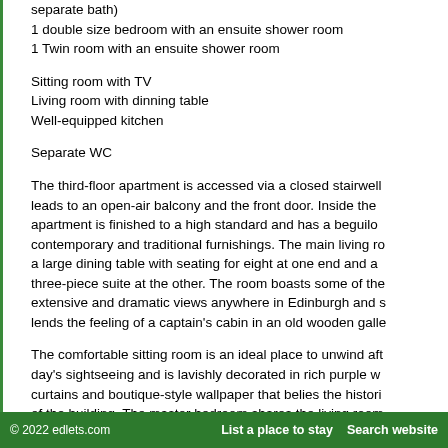separate bath)
1 double size bedroom with an ensuite shower room
1 Twin room with an ensuite shower room
Sitting room with TV
Living room with dinning table
Well-equipped kitchen
Separate WC
The third-floor apartment is accessed via a closed stairwell leads to an open-air balcony and the front door. Inside the apartment is finished to a high standard and has a beguiling contemporary and traditional furnishings. The main living ro a large dining table with seating for eight at one end and a three-piece suite at the other. The room boasts some of the extensive and dramatic views anywhere in Edinburgh and s lends the feeling of a captain's cabin in an old wooden galle
The comfortable sitting room is an ideal place to unwind aft day's sightseeing and is lavishly decorated in rich purple w curtains and boutique-style wallpaper that belies the histori of the building. The master bedroom shares the living room spectacular vista and is a cool, bright space. It features a s
© 2022 edlets.com    List a place to stay    Search website